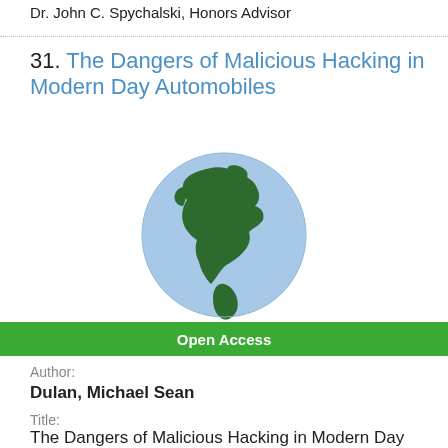Dr. John C. Spychalski, Honors Advisor
31. The Dangers of Malicious Hacking in Modern Day Automobiles
[Figure (illustration): Globe icon showing North and South America in dark green on a light blue sphere]
Open Access
Author:
Dulan, Michael Sean
Title:
The Dangers of Malicious Hacking in Modern Day Automobiles